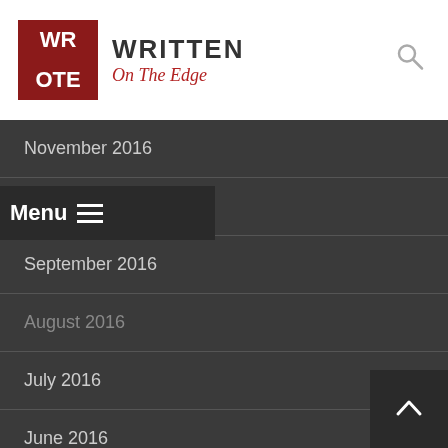WROTE Written On The Edge
November 2016
October 2016
September 2016
Menu
August 2016
July 2016
June 2016
May 2016
April 2016
March 2016
February 2016